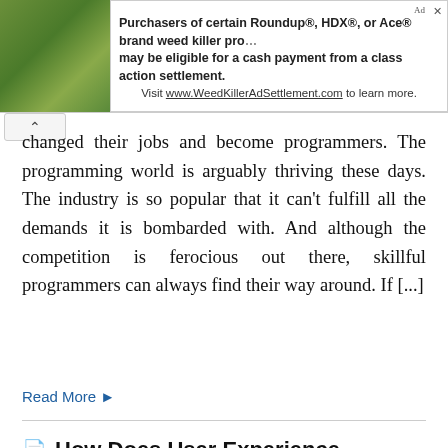[Figure (other): Advertisement banner: image of plants on left, text about Roundup/HDX/Ace weed killer class action settlement on right with URL www.WeedKillerAdSettlement.com]
have changed their jobs and become programmers. The programming world is arguably thriving these days. The industry is so popular that it can't fulfill all the demands it is bombarded with. And although the competition is ferocious out there, skillful programmers can always find their way around. If [...]
Read More →
🗎 How Does User Experience Influence Your Website?
Python has fast become one of the most popular coding languages, used for everything from websites.